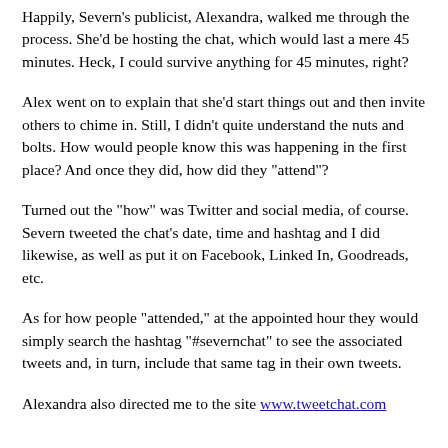Happily, Severn's publicist, Alexandra, walked me through the process. She'd be hosting the chat, which would last a mere 45 minutes. Heck, I could survive anything for 45 minutes, right?
Alex went on to explain that she'd start things out and then invite others to chime in. Still, I didn't quite understand the nuts and bolts. How would people know this was happening in the first place? And once they did, how did they "attend"?
Turned out the "how" was Twitter and social media, of course. Severn tweeted the chat's date, time and hashtag and I did likewise, as well as put it on Facebook, Linked In, Goodreads, etc.
As for how people "attended," at the appointed hour they would simply search the hashtag "#severnchat" to see the associated tweets and, in turn, include that same tag in their own tweets.
Alexandra also directed me to the site www.tweetchat.com